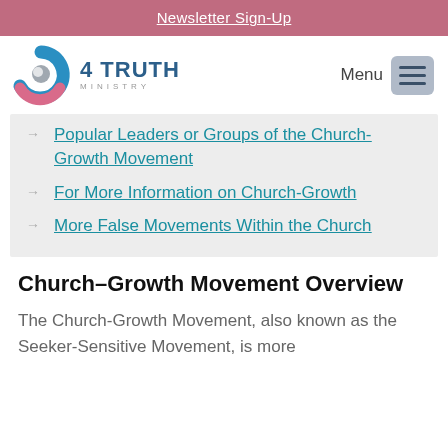Newsletter Sign-Up
[Figure (logo): 4 Truth Ministry logo with circular blue/pink/grey swirl icon and text '4 TRUTH MINISTRY']
Popular Leaders or Groups of the Church-Growth Movement
For More Information on Church-Growth
More False Movements Within the Church
Church–Growth Movement Overview
The Church-Growth Movement, also known as the Seeker-Sensitive Movement, is more